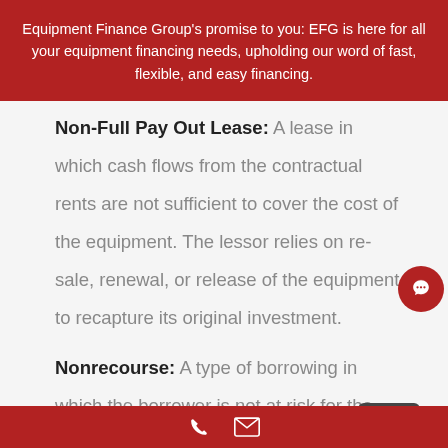Equipment Finance Group's promise to you: EFG is here for all your equipment financing needs, upholding our word of fast, flexible, and easy financing.
Non-Full Pay Out Lease: A lease in which cash flows from the contractual rents are not sufficient to cover the cost of the equipment. The lessor relies on re-sale, renewal, or release of the equipment to recapture its original investment.
Nonrecourse: A type of borrowing in which the borrower is not at risk for the borrowed funds. In a leveraged lease, the lender cannot look to the or
phone | email